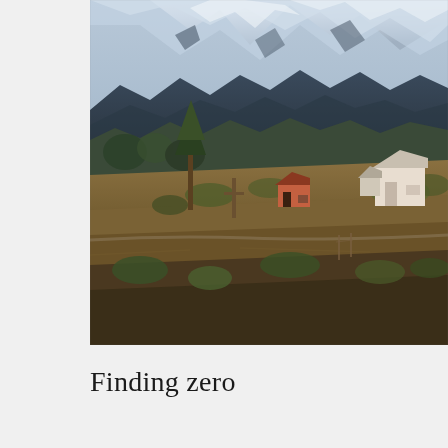[Figure (photo): Photograph of a Himalayan mountain landscape. Snow-capped mountain peaks dominate the upper portion of the image. Dark forested foothills are visible in the middle section. In the lower portion, a rural village scene with small buildings, earthen terrain, dry grasses, and scattered trees is visible.]
Finding zero